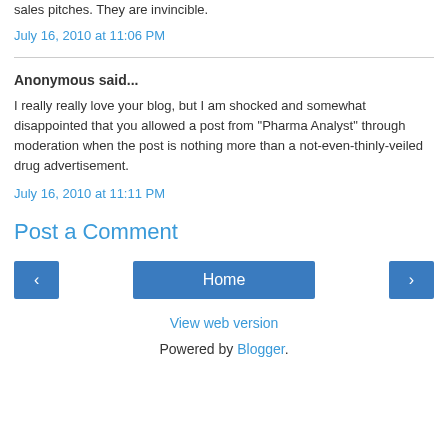People who go to medical school are over-immune to sales pitches. They are invincible.
July 16, 2010 at 11:06 PM
Anonymous said...
I really really love your blog, but I am shocked and somewhat disappointed that you allowed a post from "Pharma Analyst" through moderation when the post is nothing more than a not-even-thinly-veiled drug advertisement.
July 16, 2010 at 11:11 PM
Post a Comment
Home
View web version
Powered by Blogger.